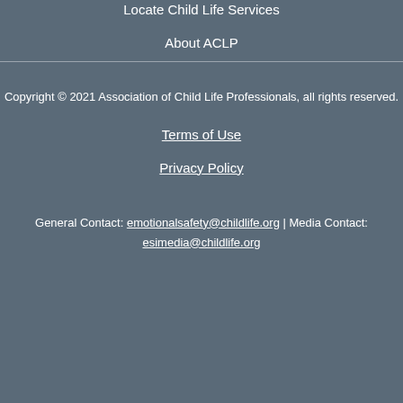Locate Child Life Services
About ACLP
Copyright © 2021 Association of Child Life Professionals, all rights reserved.
Terms of Use
Privacy Policy
General Contact: emotionalsafety@childlife.org | Media Contact: esimedia@childlife.org